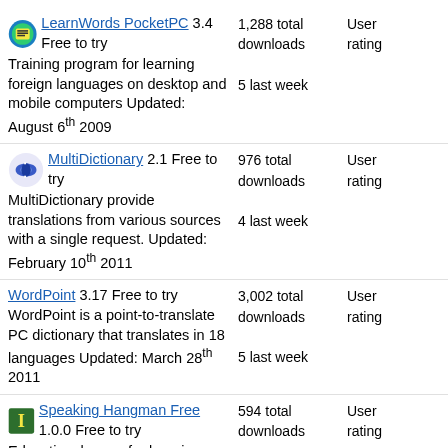LearnWords PocketPC 3.4 Free to try Training program for learning foreign languages on desktop and mobile computers Updated: August 6th 2009 | 1,288 total downloads 5 last week | User rating
MultiDictionary 2.1 Free to try MultiDictionary provide translations from various sources with a single request. Updated: February 10th 2011 | 976 total downloads 4 last week | User rating
WordPoint 3.17 Free to try WordPoint is a point-to-translate PC dictionary that translates in 18 languages Updated: March 28th 2011 | 3,002 total downloads 5 last week | User rating
Speaking Hangman Free 1.0.0 Free to try Educational game for learning and practicing English and Spanish words. Updated: July 31st 2008 | 594 total downloads 5 last week | User rating